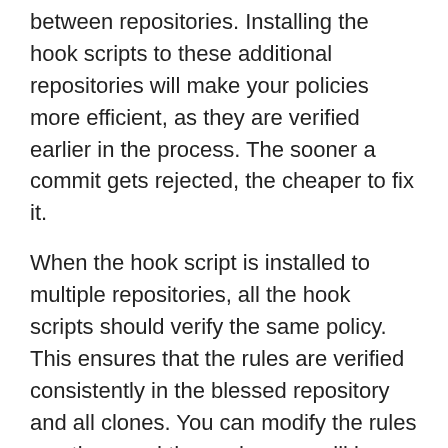between repositories. Installing the hook scripts to these additional repositories will make your policies more efficient, as they are verified earlier in the process. The sooner a commit gets rejected, the cheaper to fix it.
When the hook script is installed to multiple repositories, all the hook scripts should verify the same policy. This ensures that the rules are verified consistently in the blessed repository and all clones. You can modify the rules any time, and those changes will be immediately reflected in all the repositories referencing them.
It is important to note that the earliest (thus best) opportunity to validate a commit policy would be in the developer's local clone repositories, using so-called